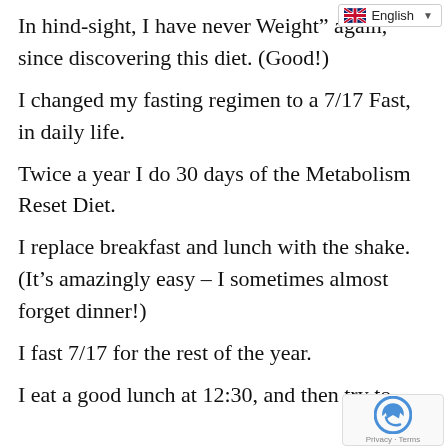In hind-sight, I have never Weight” again, since discovering this diet. (Good!)
I changed my fasting regimen to a 7/17 Fast, in daily life.
Twice a year I do 30 days of the Metabolism Reset Diet.
I replace breakfast and lunch with the shake. (It’s amazingly easy – I sometimes almost forget dinner!)
I fast 7/17 for the rest of the year.
I eat a good lunch at 12:30, and then try to